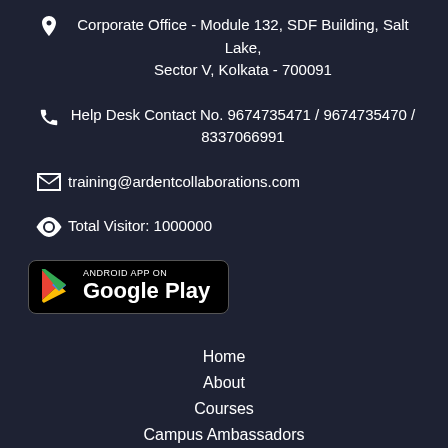Corporate Office - Module 132, SDF Building, Salt Lake, Sector V, Kolkata - 700091
Help Desk Contact No. 9674735471 / 9674735470 / 8337066991
training@ardentcollaborations.com
Total Visitor: 1000000
[Figure (logo): Android App on Google Play button]
Home
About
Courses
Campus Ambassadors